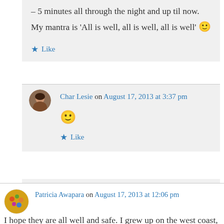– 5 minutes all through the night and up til now. My mantra is 'All is well, all is well, all is well' 🙂
Like
Char Lesie on August 17, 2013 at 3:37 pm
🙂
Like
Patricia Awapara on August 17, 2013 at 12:06 pm
I hope they are all well and safe. I grew up on the west coast, Peru. I know what it feels, but so